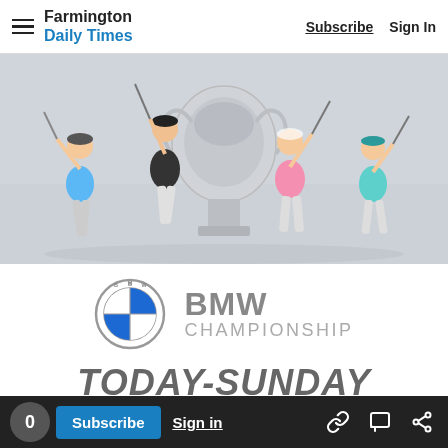Farmington Daily Times — Subscribe | Sign In
[Figure (photo): Four golfers mid-swing positioned around a large silver trophy/crystal championship trophy on a golf course background]
[Figure (logo): BMW logo (blue and white quadrant circle) with text BMW CHAMPIONSHIP]
TODAY-SUNDAY
0  Subscribe  Sign in  [link icon] [comment icon] [share icon]